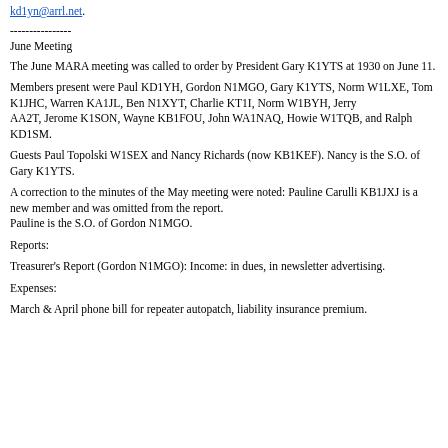kd1yn@arrl.net.
----------------
June Meeting
The June MARA meeting was called to order by President Gary K1YTS at 1930 on June 11.
Members present were Paul KD1YH, Gordon N1MGO, Gary K1YTS, Norm W1LXE, Tom K1JHC, Warren KA1JL, Ben N1XYT, Charlie KT1I, Norm W1BYH, Jerry AA2T, Jerome K1SON, Wayne KB1FOU, John WA1NAQ, Howie W1TQB, and Ralph KD1SM.
Guests Paul Topolski W1SEX and Nancy Richards (now KB1KEF). Nancy is the S.O. of Gary K1YTS.
A correction to the minutes of the May meeting were noted: Pauline Carulli KB1JXJ is a new member and was omitted from the report. Pauline is the S.O. of Gordon N1MGO.
Reports:
Treasurer's Report (Gordon N1MGO): Income: in dues, in newsletter advertising.
Expenses:
March & April phone bill for repeater autopatch, liability insurance premium.